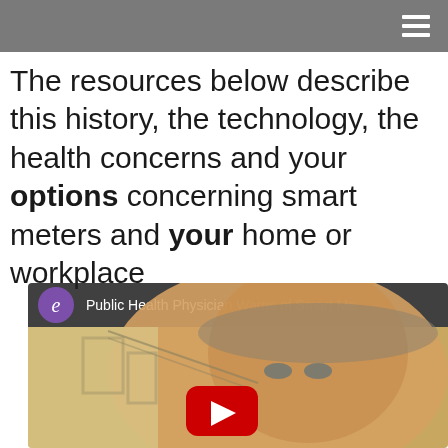navigation menu
The resources below describe this history, the technology, the health concerns and your options concerning smart meters and your home or workplace
[Figure (screenshot): YouTube video thumbnail showing a public health physician. Video title reads 'Public Health Physician Warns of Smart Me...' with a purple channel avatar showing 'e'. A red YouTube play button is visible in the lower center of the video frame.]